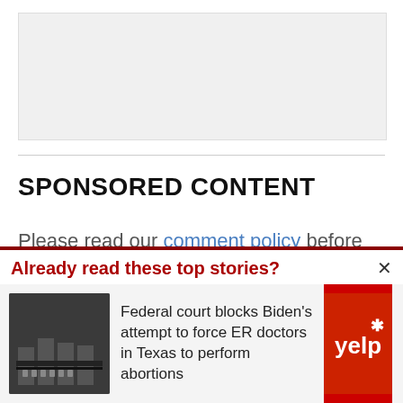[Figure (other): Gray placeholder advertisement box]
SPONSORED CONTENT
Please read our comment policy before commenting.
Already read these top stories?
Federal court blocks Biden's attempt to force ER doctors in Texas to perform abortions